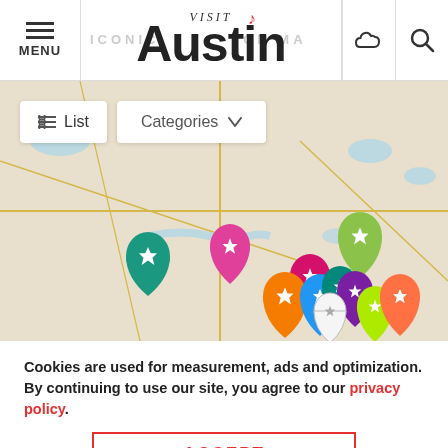[Figure (screenshot): Visit Austin website header with menu button, Visit Austin logo, weather icon and search icon]
[Figure (map): Interactive map of Austin area showing multiple colorful location pin markers in various colors (teal, pink, magenta, orange, lime green, purple, white) clustered around the Austin area, with List and Categories filter controls overlaid at top left]
Cookies are used for measurement, ads and optimization. By continuing to use our site, you agree to our privacy policy.
ACCEPT